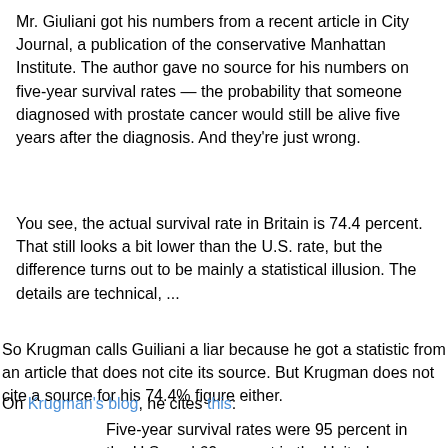Mr. Giuliani got his numbers from a recent article in City Journal, a publication of the conservative Manhattan Institute. The author gave no source for his numbers on five-year survival rates — the probability that someone diagnosed with prostate cancer would still be alive five years after the diagnosis. And they're just wrong.
You see, the actual survival rate in Britain is 74.4 percent. That still looks a bit lower than the U.S. rate, but the difference turns out to be mainly a statistical illusion. The details are technical, ...
So Krugman calls Guiliani a liar because he got a statistic from an article that does not cite its source. But Krugman does not cite a source for his 74.4% figure either.
On Krugman's blog, he cites this:
Five-year survival rates were 95 percent in the U.S. and 60 percent in the United Kingdom, which includes Britain, in 1993-1995, the most